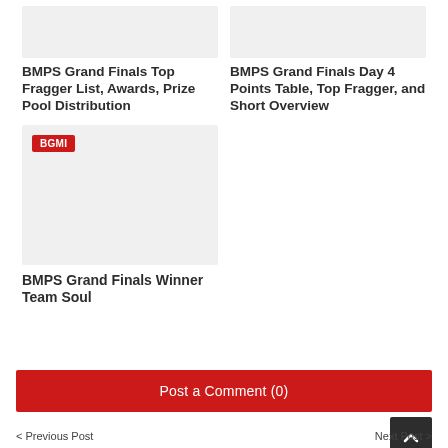[Figure (photo): Placeholder image for BMPS Grand Finals Top Fragger article (top left, light gray)]
BMPS Grand Finals Top Fragger List, Awards, Prize Pool Distribution
[Figure (photo): Placeholder image for BMPS Grand Finals Day 4 article (top right, light gray)]
BMPS Grand Finals Day 4 Points Table, Top Fragger, and Short Overview
[Figure (photo): Placeholder image with BGMI badge for BMPS Grand Finals Winner Team Soul article (bottom left, light gray)]
BMPS Grand Finals Winner Team Soul
Post a Comment (0)
< Previous Post    Next Post >